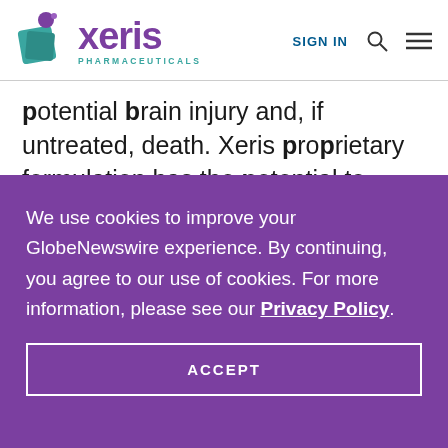[Figure (logo): Xeris Pharmaceuticals logo with teal/green molecule icon and purple wordmark]
potential brain injury and, if untreated, death. Xeris proprietary formulation has the potential to provide the first soluble, stable, ready to inject
We use cookies to improve your GlobeNewswire experience. By continuing, you agree to our use of cookies. For more information, please see our Privacy Policy.
ACCEPT